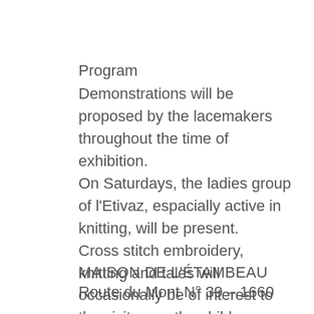Program
Demonstrations will be proposed by the lacemakers throughout the time of exhibition.
On Saturdays, the ladies group of l'Etivaz, espacially active in knitting, will be present.
Cross stitch embroidery, knitting and tales will occasionally be of interest to the visitors or the children.
MAISON DE L'ÉTAMBEAU
Route du Mont N° 39 – 1660